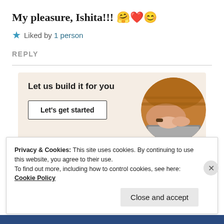My pleasure, Ishita!!! 🤗❤️😊
★ Liked by 1 person
REPLY
[Figure (infographic): Advertisement panel with beige background reading 'Let us build it for you' with a 'Let's get started' button and a circular cropped photo of hands typing on a laptop]
Privacy & Cookies: This site uses cookies. By continuing to use this website, you agree to their use.
To find out more, including how to control cookies, see here: Cookie Policy
Close and accept